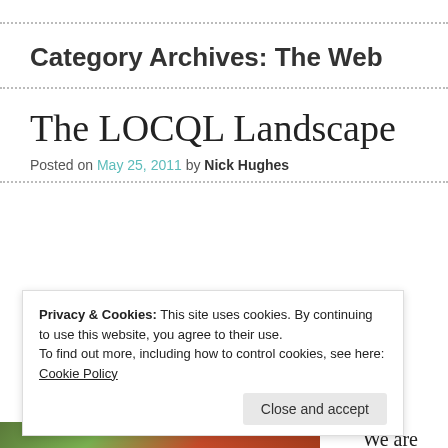Category Archives: The Web
The LOCQL Landscape
Posted on May 25, 2011 by Nick Hughes
Privacy & Cookies: This site uses cookies. By continuing to use this website, you agree to their use.
To find out more, including how to control cookies, see here: Cookie Policy
Close and accept
[Figure (photo): Partial view of a landscape/garden photo at the bottom of the page]
We are